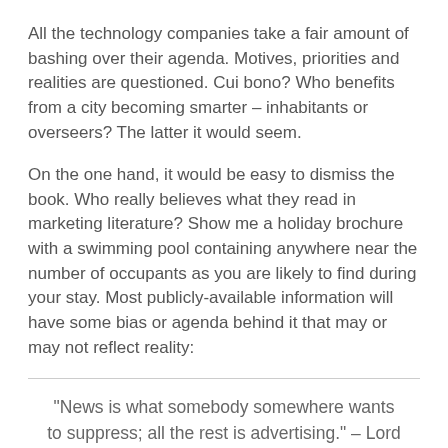All the technology companies take a fair amount of bashing over their agenda. Motives, priorities and realities are questioned. Cui bono? Who benefits from a city becoming smarter – inhabitants or overseers? The latter it would seem.
On the one hand, it would be easy to dismiss the book. Who really believes what they read in marketing literature? Show me a holiday brochure with a swimming pool containing anywhere near the number of occupants as you are likely to find during your stay. Most publicly-available information will have some bias or agenda behind it that may or may not reflect reality:
“News is what somebody somewhere wants to suppress; all the rest is advertising.” – Lord Northcliffe, British publisher 1865 – 1922
On the other hand, the pamphlet provides a solid nudge that